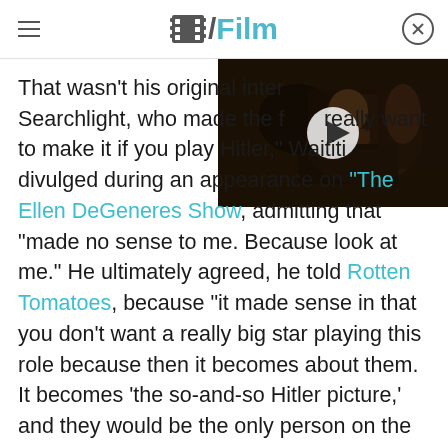/Film
[Figure (screenshot): Video thumbnail showing a dark film scene with a person, with a play button overlay]
That wasn't his original intent. Searchlight, who made the film, really want to make it if you play Hitler," Waititi divulged during an appearance on "The Ellen DeGeneres Show, admitting that "made no sense to me. Because look at me." He ultimately agreed, he told Rotten Tomatoes, because "it made sense in that you don't want a really big star playing this role because then it becomes about them. It becomes 'the so-and-so Hitler picture,' and they would be the only person on the poster. And all the chat would be about that and instead of what the film is really